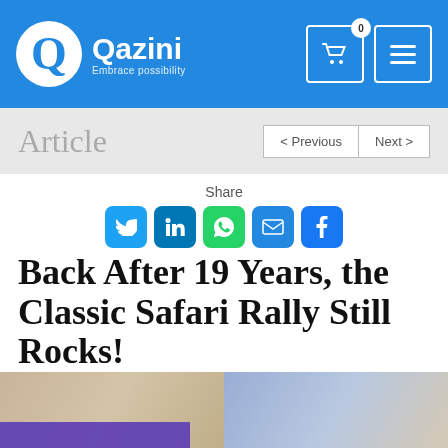Qazini – Embrace possibility
Article
Share
Back After 19 Years, the Classic Safari Rally Still Rocks!
Reading Time 4 mins
July 5, 2021  Peter Gatuna
[Figure (photo): Bottom strip showing a partial photo of the Classic Safari Rally, with sandy/dusty terrain on the left and sky/landscape on the right, with a purple banner overlay at bottom left.]